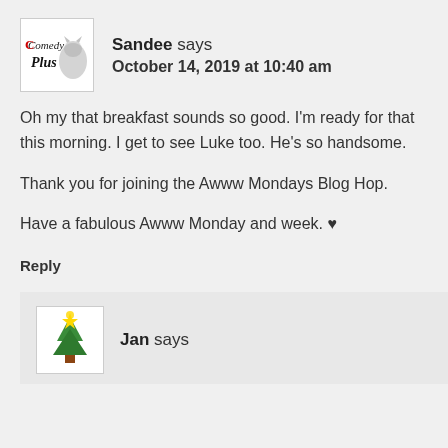[Figure (logo): Comedy Plus blog logo - small square avatar with stylized text]
Sandee says
October 14, 2019 at 10:40 am
Oh my that breakfast sounds so good. I'm ready for that this morning. I get to see Luke too. He's so handsome.

Thank you for joining the Awww Mondays Blog Hop.

Have a fabulous Awww Monday and week. ♥
Reply
[Figure (illustration): Jan commenter avatar - illustrated Christmas tree character]
Jan says